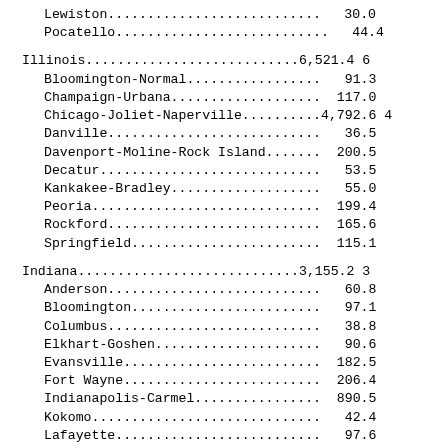| Location | Value |
| --- | --- |
| Lewiston | 30.0 |
| Pocatello | 44.4 |
| Illinois | 6,521.4 |
| Bloomington-Normal | 91.3 |
| Champaign-Urbana | 117.0 |
| Chicago-Joliet-Naperville | 4,792.6 |
| Danville | 36.5 |
| Davenport-Moline-Rock Island | 200.5 |
| Decatur | 53.5 |
| Kankakee-Bradley | 55.0 |
| Peoria | 199.4 |
| Rockford | 165.6 |
| Springfield | 115.1 |
| Indiana | 3,155.2 |
| Anderson | 60.8 |
| Bloomington | 97.1 |
| Columbus | 38.8 |
| Elkhart-Goshen | 90.6 |
| Evansville | 182.5 |
| Fort Wayne | 206.4 |
| Indianapolis-Carmel | 890.5 |
| Kokomo | 42.4 |
| Lafayette | 97.6 |
| Michigan City-La Porte | 50.5 |
| Muncie | 53.4 |